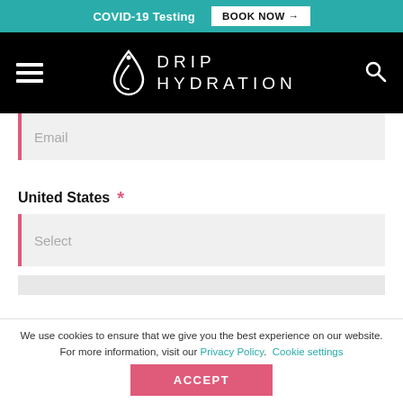COVID-19 Testing  BOOK NOW →
[Figure (logo): Drip Hydration logo with drop icon and text DRIP HYDRATION on black navigation bar]
Email
United States *
Select
We use cookies to ensure that we give you the best experience on our website. For more information, visit our Privacy Policy.
Cookie settings
ACCEPT